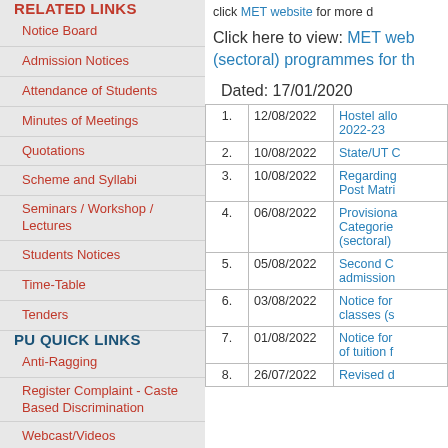RELATED LINKS
Notice Board
Admission Notices
Attendance of Students
Minutes of Meetings
Quotations
Scheme and Syllabi
Seminars / Workshop / Lectures
Students Notices
Time-Table
Tenders
PU QUICK LINKS
Anti-Ragging
Register Complaint - Caste Based Discrimination
Webcast/Videos
University Events
PU Committee Against Sexual Harassment (PUCASH)
click MET website for more d
Click here to view: MET web (sectoral) programmes for th
Dated: 17/01/2020
| # | Date | Notice |
| --- | --- | --- |
| 1. | 12/08/2022 | Hostel allo 2022-23 |
| 2. | 10/08/2022 | State/UT C |
| 3. | 10/08/2022 | Regarding Post Matri |
| 4. | 06/08/2022 | Provisiona Categorie (sectoral) |
| 5. | 05/08/2022 | Second C admission |
| 6. | 03/08/2022 | Notice for classes (s |
| 7. | 01/08/2022 | Notice for of tuition f |
| 8. | 26/07/2022 | Revised d |